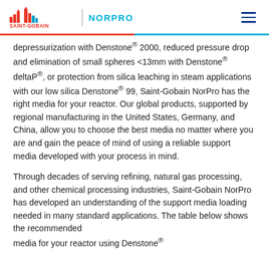SAINT-GOBAIN | NORPRO
depressurization with Denstone® 2000, reduced pressure drop and elimination of small spheres <13mm with Denstone® deltaP®, or protection from silica leaching in steam applications with our low silica Denstone® 99, Saint-Gobain NorPro has the right media for your reactor. Our global products, supported by regional manufacturing in the United States, Germany, and China, allow you to choose the best media no matter where you are and gain the peace of mind of using a reliable support media developed with your process in mind.
Through decades of serving refining, natural gas processing, and other chemical processing industries, Saint-Gobain NorPro has developed an understanding of the support media loading needed in many standard applications. The table below shows the recommended media for your reactor using Denstone®